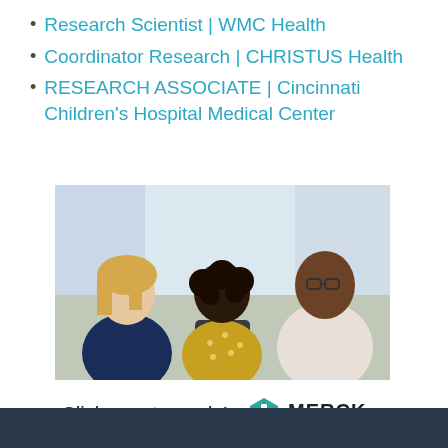Research Scientist | WMC Health
Coordinator Research | CHRISTUS Health
RESEARCH ASSOCIATE | Cincinnati Children's Hospital Medical Center
[Figure (photo): Three people in a meeting room — a blonde woman on the left, a person with curly hair seen from behind in the center seated in a chair, and a smiling Black man with glasses on the right gesturing while talking.]
Click now to apply!
[Figure (logo): Merck logo — teal hexagonal badge icon with MERCK text and INVENTING FOR LIFE tagline]